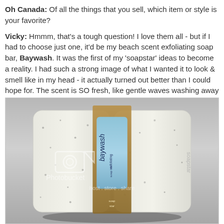Oh Canada: Of all the things that you sell, which item or style is your favorite?

Vicky: Hmmm, that's a tough question! I love them all - but if I had to choose just one, it'd be my beach scent exfoliating soap bar, Baywash. It was the first of my 'soapstar' ideas to become a reality. I had such a strong image of what I wanted it to look & smell like in my head - it actually turned out better than I could hope for. The scent is SO fresh, like gentle waves washing away your cares...
[Figure (photo): Photo of a Baywash soap bar with a blue label wrapped in a brown kraft paper band, showing 'baywash' branding. The soap appears white/cream colored with exfoliating particles. A Photobucket watermark is overlaid on the image.]